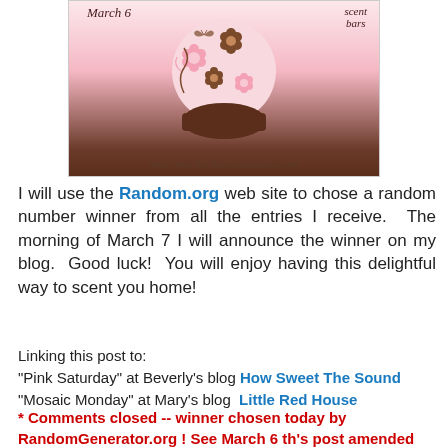[Figure (photo): A pink floral ceramic wax warmer/scent bar holder with 'March 6' text top left and 'scent bars' top right, and URL 'http://millefiorifavoriti.blogspot.com' at bottom]
I will use the Random.org web site to chose a random number winner from all the entries I receive.  The morning of March 7 I will announce the winner on my blog.  Good luck!  You will enjoy having this delightful way to scent you home!
Linking this post to:
"Pink Saturday" at Beverly's blog How Sweet The Sound
"Mosaic Monday" at Mary's blog  Little Red House
* Comments closed -- winner chosen today by RandomGenerator.org ! See March 6 th's post amended